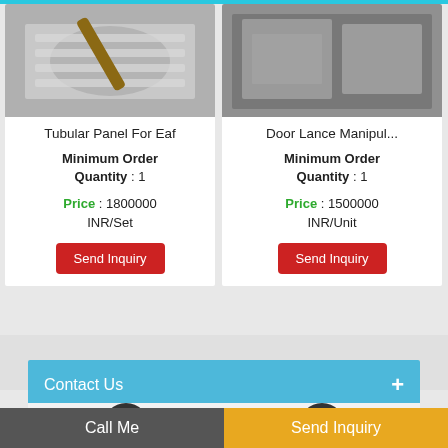[Figure (photo): Product image for Tubular Panel For Eaf - silver/metallic coils]
Tubular Panel For Eaf
Minimum Order Quantity : 1
Price : 1800000 INR/Set
Send Inquiry
[Figure (photo): Product image for Door Lance Manipulator - industrial equipment]
Door Lance Manipul...
Minimum Order Quantity : 1
Price : 1500000 INR/Unit
Send Inquiry
Contact Us
[Figure (infographic): Email icon in dark circle]
[Figure (infographic): Phone icon in dark circle]
Call Me
Send Inquiry